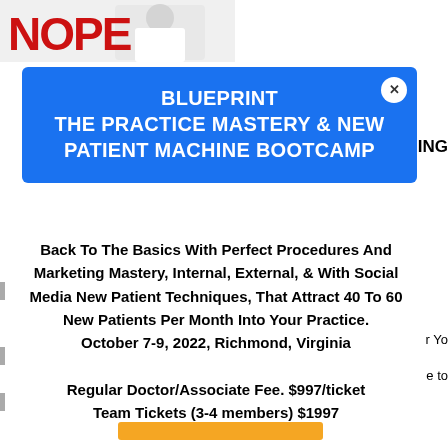[Figure (photo): Image with bold red text NOPE and a person in a white coat (doctor) on the right side]
BLUEPRINT THE PRACTICE MASTERY & NEW PATIENT MACHINE BOOTCAMP
Back To The Basics With Perfect Procedures And Marketing Mastery, Internal, External, & With Social Media New Patient Techniques, That Attract 40 To 60 New Patients Per Month Into Your Practice. October 7-9, 2022, Richmond, Virginia

Regular Doctor/Associate Fee. $997/ticket
Team Tickets (3-4 members) $1997